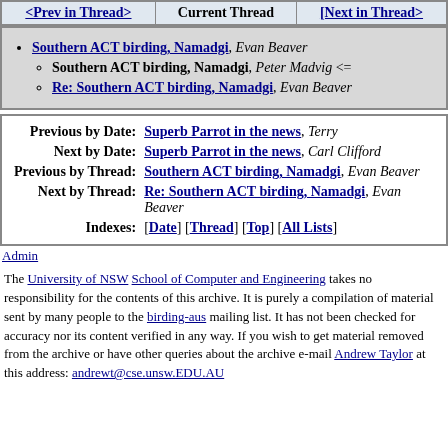| <Prev in Thread> | Current Thread | [Next in Thread> |
| --- | --- | --- |
Southern ACT birding, Namadgi, Evan Beaver
Southern ACT birding, Namadgi, Peter Madvig <=
Re: Southern ACT birding, Namadgi, Evan Beaver
| Label | Link |
| --- | --- |
| Previous by Date: | Superb Parrot in the news, Terry |
| Next by Date: | Superb Parrot in the news, Carl Clifford |
| Previous by Thread: | Southern ACT birding, Namadgi, Evan Beaver |
| Next by Thread: | Re: Southern ACT birding, Namadgi, Evan Beaver |
| Indexes: | [Date] [Thread] [Top] [All Lists] |
Admin
The University of NSW School of Computer and Engineering takes no responsibility for the contents of this archive. It is purely a compilation of material sent by many people to the birding-aus mailing list. It has not been checked for accuracy nor its content verified in any way. If you wish to get material removed from the archive or have other queries about the archive e-mail Andrew Taylor at this address: andrewt@cse.unsw.EDU.AU